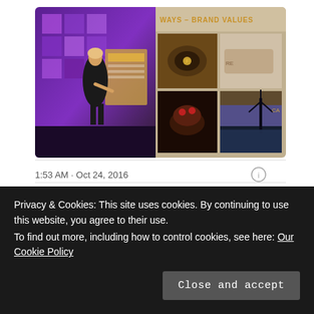[Figure (photo): Composite photo: left half shows a woman presenting on stage with purple geometric backdrop and a slide/screen behind her; right half shows a brand values slide with title 'WAYS – BRAND VALUES' and a 2x2 grid of images (Ferrari car interior, handshake, chocolate dessert, city/windmill at dusk).]
1:53 AM · Oct 24, 2016
2   Reply   Copy link
Privacy & Cookies: This site uses cookies. By continuing to use this website, you agree to their use.
To find out more, including how to control cookies, see here: Our Cookie Policy
Close and accept